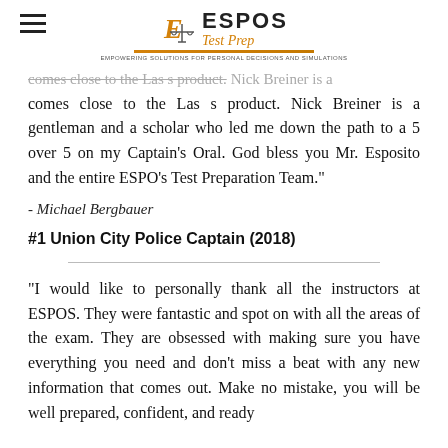ESPOS Test Prep
comes close to the Las s product. Nick Breiner is a gentleman and a scholar who led me down the path to a 5 over 5 on my Captain's Oral. God bless you Mr. Esposito and the entire ESPO's Test Preparation Team."
- Michael Bergbauer
#1 Union City Police Captain (2018)
"I would like to personally thank all the instructors at ESPOS. They were fantastic and spot on with all the areas of the exam. They are obsessed with making sure you have everything you need and don't miss a beat with any new information that comes out. Make no mistake, you will be well prepared, confident, and ready